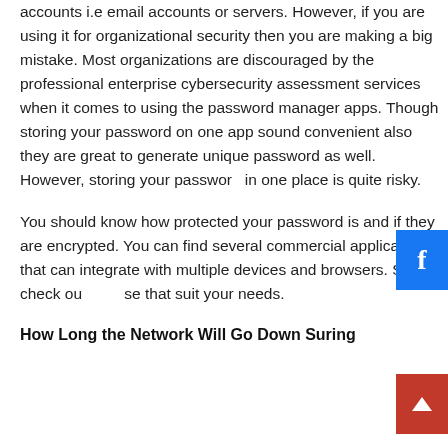accounts i.e email accounts or servers. However, if you are using it for organizational security then you are making a big mistake. Most organizations are discouraged by the professional enterprise cybersecurity assessment services when it comes to using the password manager apps. Though storing your password on one app sound convenient also they are great to generate unique password as well. However, storing your password in one place is quite risky.
You should know how protected your password is and if they are encrypted. You can find several commercial applications that can integrate with multiple devices and browsers. So, check out those that suit your needs.
How Long the Network Will Go Down Suring